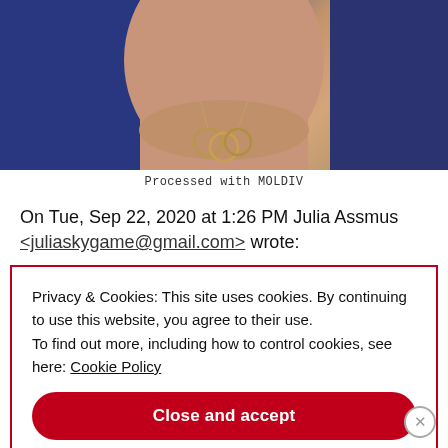[Figure (photo): Photo showing a person's neck/chest area with a necklace featuring interlocked rings, wearing a blue jacket]
Processed with MOLDIV
On Tue, Sep 22, 2020 at 1:26 PM Julia Assmus <juliaskygame@gmail.com> wrote:
Privacy & Cookies: This site uses cookies. By continuing to use this website, you agree to their use. To find out more, including how to control cookies, see here: Cookie Policy
Close and accept